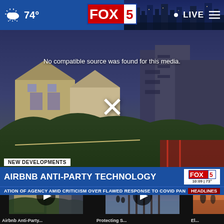FOX 5 | 74° | LIVE
[Figure (screenshot): FOX 5 news website header with weather showing 74°, FOX 5 logo in center, LIVE button and menu icon on right, with San Diego skyline background on right side]
[Figure (screenshot): Video player showing error message 'No compatible source was found for this media.' with X close button, background shows residential neighborhood near beach at dusk. Lower third shows 'NEW DEVELOPMENTS' tag, headline 'AIRBNB ANTI-PARTY TECHNOLOGY', FOX 5 bug showing 10:09 73°, ticker reads 'ATION OF AGENCY AMID CRITICISM OVER FLAWED RESPONSE TO COVID PAN' and 'HEADLINES' badge]
No compatible source was found for this media.
NEW DEVELOPMENTS
AIRBNB ANTI-PARTY TECHNOLOGY
ATION OF AGENCY AMID CRITICISM OVER FLAWED RESPONSE TO COVID PAN
[Figure (screenshot): Three video thumbnails at bottom: first shows residential neighborhood (Airbnb Anti-Party story), second shows pier/beach scene, third is partially visible]